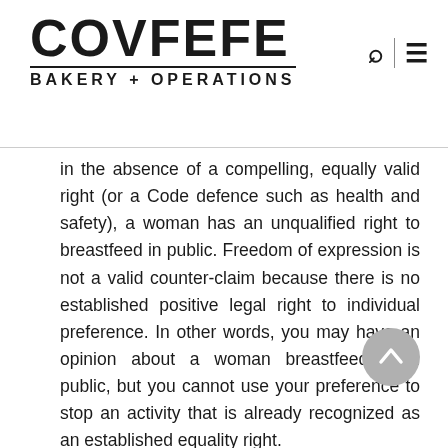COVFEFE BAKERY + OPERATIONS
in the absence of a compelling, equally valid right (or a Code defence such as health and safety), a woman has an unqualified right to breastfeed in public. Freedom of expression is not a valid counter-claim because there is no established positive legal right to individual preference. In other words, you may have an opinion about a woman breastfeeding in public, but you cannot use your preference to stop an activity that is already recognized as an established equality right.
If the claim does engage a legal right, it is then necessary to consider whether on the facts of the case, the individual can bring him or herself